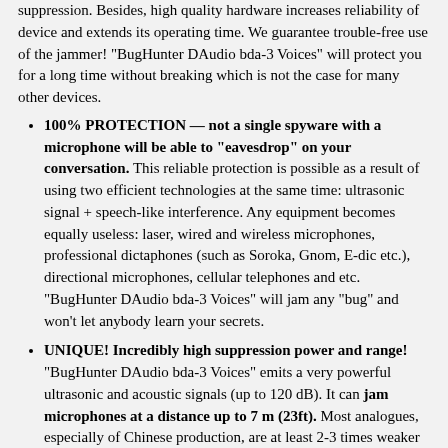suppression. Besides, high quality hardware increases reliability of device and extends its operating time. We guarantee trouble-free use of the jammer! "BugHunter DAudio bda-3 Voices" will protect you for a long time without breaking which is not the case for many other devices.
100% PROTECTION — not a single spyware with a microphone will be able to "eavesdrop" on your conversation. This reliable protection is possible as a result of using two efficient technologies at the same time: ultrasonic signal + speech-like interference. Any equipment becomes equally useless: laser, wired and wireless microphones, professional dictaphones (such as Soroka, Gnom, E-dic etc.), directional microphones, cellular telephones and etc. "BugHunter DAudio bda-3 Voices" will jam any "bug" and won't let anybody learn your secrets.
UNIQUE! Incredibly high suppression power and range! "BugHunter DAudio bda-3 Voices" emits a very powerful ultrasonic and acoustic signals (up to 120 dB). It can jam microphones at a distance up to 7 m (23ft). Most analogues, especially of Chinese production, are at least 2-3 times weaker even going by the declared characteristics. Emission power is so high that our specialists recommend to keep transducers away from hearing organs to avoid injury.